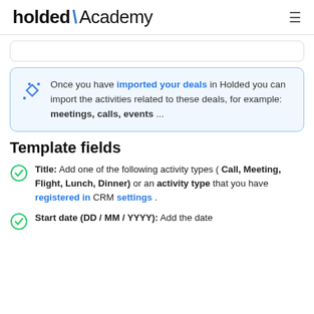holded \ Academy
Once you have imported your deals in Holded you can import the activities related to these deals, for example: meetings, calls, events ...
Template fields
Title:  Add one of the following activity types ( Call, Meeting, Flight, Lunch, Dinner)  or an activity type that you have registered in CRM settings .
Start date (DD / MM / YYYY):  Add the date